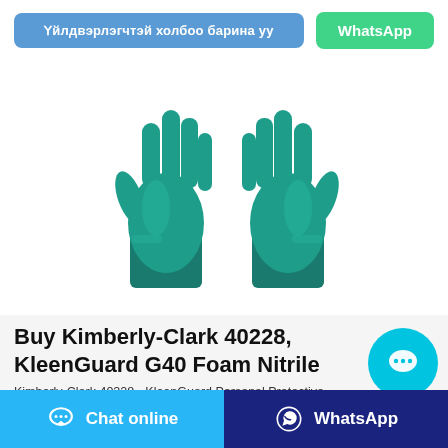Үйлдвэрлэгчтэй холбоо барина уу
WhatsApp
[Figure (photo): Two teal/green nitrile protective gloves (KleenGuard G40 Foam Nitrile) shown side by side on a white background]
Buy Kimberly-Clark 40228, KleenGuard G40 Foam Nitrile
Kimberly-Clark 40228 - KleenGuard Personal Protective Equipment (PPE) enables rather than inhibits, allowing
Chat online
WhatsApp